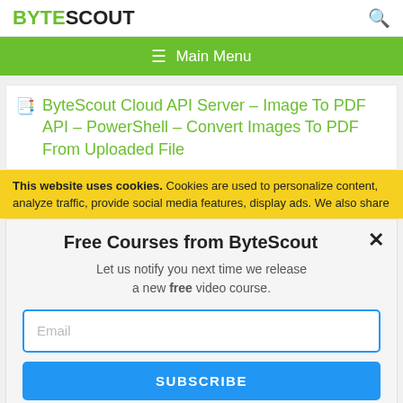BYTESCOUT
≡ Main Menu
ByteScout Cloud API Server – Image To PDF API – PowerShell – Convert Images To PDF From Uploaded File
This website uses cookies. Cookies are used to personalize content, analyze traffic, provide social media features, display ads. We also share
Free Courses from ByteScout
Let us notify you next time we release a new free video course.
Email
SUBSCRIBE